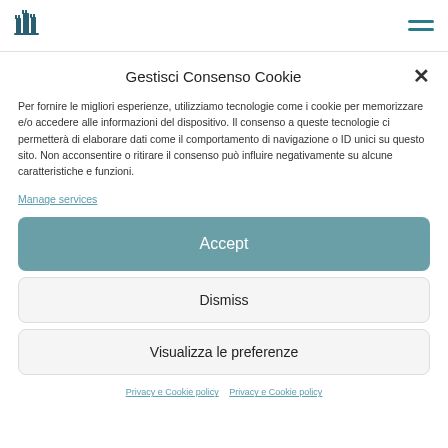[Figure (logo): Castle/towers logo icon in teal/dark blue]
[Figure (other): Hamburger menu icon (two horizontal lines) in teal]
Gestisci Consenso Cookie
Per fornire le migliori esperienze, utilizziamo tecnologie come i cookie per memorizzare e/o accedere alle informazioni del dispositivo. Il consenso a queste tecnologie ci permetterà di elaborare dati come il comportamento di navigazione o ID unici su questo sito. Non acconsentire o ritirare il consenso può influire negativamente su alcune caratteristiche e funzioni.
Manage services
Accept
Dismiss
Visualizza le preferenze
Privacy e Cookie policy   Privacy e Cookie policy